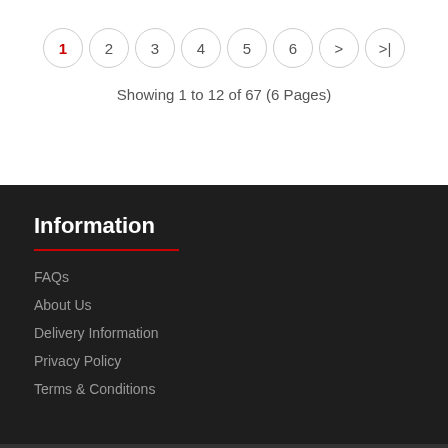1 2 3 4 5 6 > >|
Showing 1 to 12 of 67 (6 Pages)
Information
FAQs
About Us
Delivery Information
Privacy Policy
Terms & Conditions